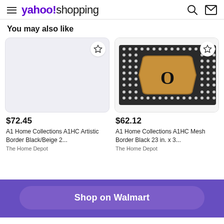yahoo!shopping
You may also like
[Figure (photo): Product card: blank light gray/lavender product image placeholder with a star/bookmark icon in top right corner]
$72.45
A1 Home Collections A1HC Artistic Border Black/Beige 2...
The Home Depot
[Figure (photo): Product card: A1HC doormat with rubber border studs and tan/beige coir center with letter O monogram]
$62.12
A1 Home Collections A1HC Mesh Border Black 23 in. x 3...
The Home Depot
Shop on Walmart